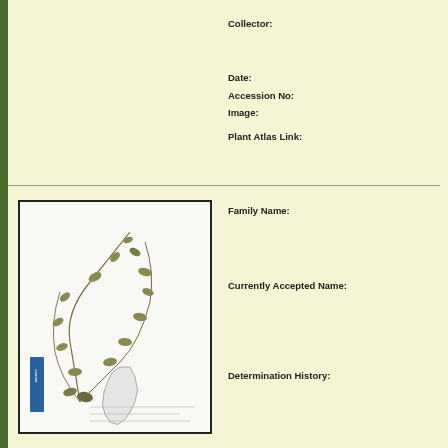Collector:
Date:
Accession No:
Image:
Plant Atlas Link:
[Figure (photo): Herbarium specimen sheet showing a dried plant with small leaves and trailing stems, with a blue label and a Florida county map in the lower portion on a white background.]
Family Name:
Currently Accepted Name:
Determination History: